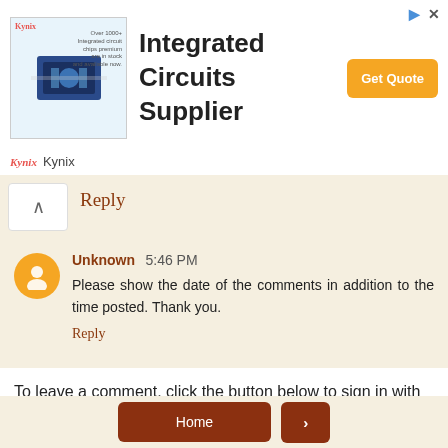[Figure (screenshot): Kynix advertisement banner for Integrated Circuits Supplier with Get Quote button]
Reply
Unknown 5:46 PM
Please show the date of the comments in addition to the time posted. Thank you.
Reply
To leave a comment, click the button below to sign in with Google.
SIGN IN WITH GOOGLE
Home  >